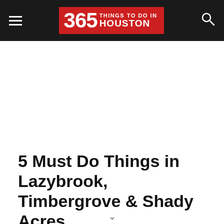365 THINGS TO DO IN HOUSTON
5 Must Do Things in Lazybrook, Timbergrove & Shady Acres
1. Have a laidback Houston meal – In case you haven't